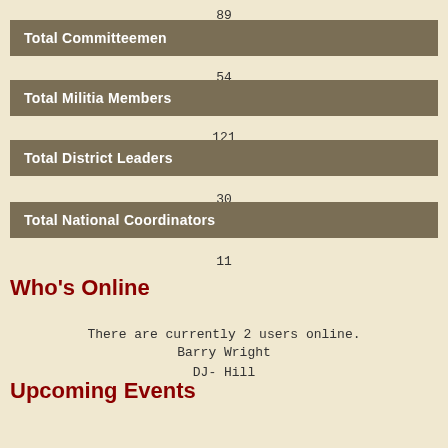89
Total Committeemen
54
Total Militia Members
121
Total District Leaders
30
Total National Coordinators
11
Who's Online
There are currently 2 users online.
Barry Wright
DJ- Hill
Upcoming Events